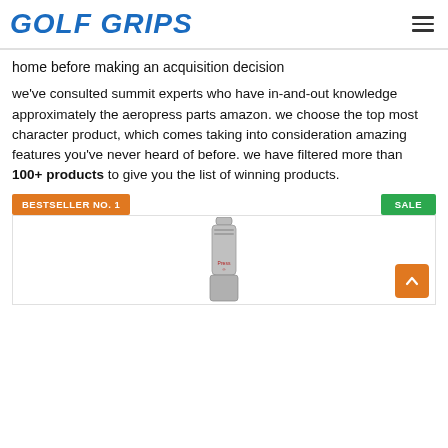GOLF GRIPS
home before making an acquisition decision
we've consulted summit experts who have in-and-out knowledge approximately the aeropress parts amazon. we choose the top most character product, which comes taking into consideration amazing features you've never heard of before. we have filtered more than 100+ products to give you the list of winning products.
BESTSELLER NO. 1
SALE
[Figure (photo): Product image of an aeropress part (cylindrical metal component) shown partially, with an orange scroll-to-top button in the bottom right corner.]